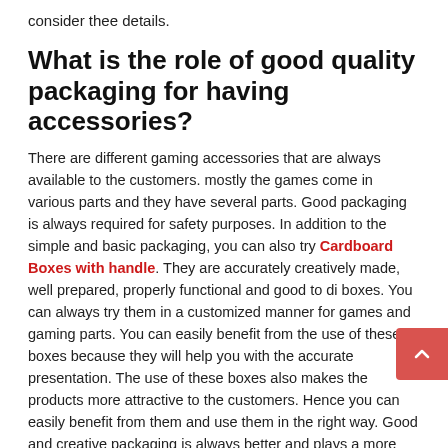consider thee details.
What is the role of good quality packaging for having accessories?
There are different gaming accessories that are always available to the customers. mostly the games come in various parts and they have several parts. Good packaging is always required for safety purposes. In addition to the simple and basic packaging, you can also try Cardboard Boxes with handle. They are accurately creatively made, well prepared, properly functional and good to di boxes. You can always try them in a customized manner for games and gaming parts. You can easily benefit from the use of these boxes because they will help you with the accurate presentation. The use of these boxes also makes the products more attractive to the customers. Hence you can easily benefit from them and use them in the right way. Good and creative packaging is always better and plays a more important role in highlighting the products.